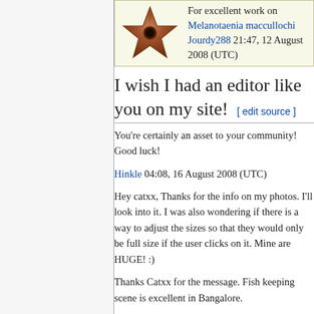[Figure (illustration): Bronze/copper colored barnstar (5-pointed star) award image with a circular hole in the center, accompanied by award text: 'For excellent work on Melanotaenia maccullochi Jourdy288 21:47, 12 August 2008 (UTC)']
I wish I had an editor like you on my site! [ edit source ]
You're certainly an asset to your community! Good luck!
Hinkle 04:08, 16 August 2008 (UTC)
Hey catxx, Thanks for the info on my photos. I'll look into it. I was also wondering if there is a way to adjust the sizes so that they would only be full size if the user clicks on it. Mine are HUGE! :)
Thanks Catxx for the message. Fish keeping scene is excellent in Bangalore.